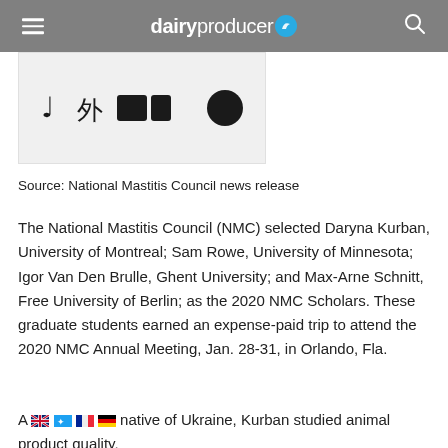dairyproducer
[Figure (screenshot): Partial view of logos/icons in a light gray box area]
Source: National Mastitis Council news release
The National Mastitis Council (NMC) selected Daryna Kurban, University of Montreal; Sam Rowe, University of Minnesota; Igor Van Den Brulle, Ghent University; and Max-Arne Schnitt, Free University of Berlin; as the 2020 NMC Scholars. These graduate students earned an expense-paid trip to attend the 2020 NMC Annual Meeting, Jan. 28-31, in Orlando, Fla.
A native of Ukraine, Kurban studied animal product quality, due to its impact on human health. During her master's